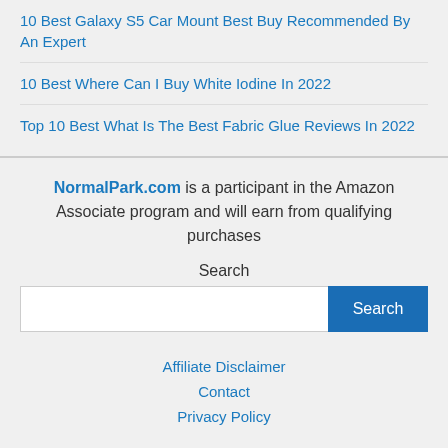10 Best Galaxy S5 Car Mount Best Buy Recommended By An Expert
10 Best Where Can I Buy White Iodine In 2022
Top 10 Best What Is The Best Fabric Glue Reviews In 2022
NormalPark.com is a participant in the Amazon Associate program and will earn from qualifying purchases
Search
Search
Affiliate Disclaimer Contact Privacy Policy